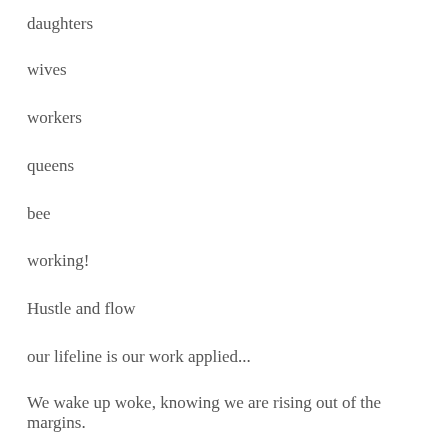daughters
wives
workers
queens
bee
working!
Hustle and flow
our lifeline is our work applied...
We wake up woke, knowing we are rising out of the margins.
Black women